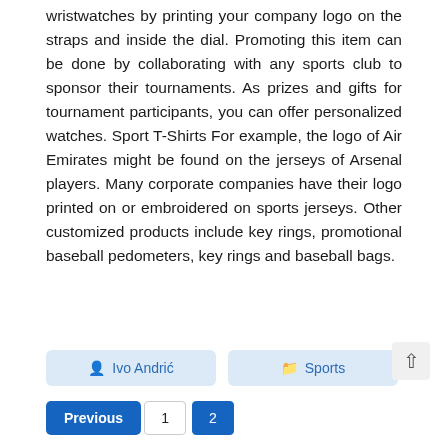wristwatches by printing your company logo on the straps and inside the dial. Promoting this item can be done by collaborating with any sports club to sponsor their tournaments. As prizes and gifts for tournament participants, you can offer personalized watches. Sport T-Shirts For example, the logo of Air Emirates might be found on the jerseys of Arsenal players. Many corporate companies have their logo printed on or embroidered on sports jerseys. Other customized products include key rings, promotional baseball pedometers, key rings and baseball bags.
Ivo Andrić
Sports
September 3, 2021
(0)
Previous  1  2